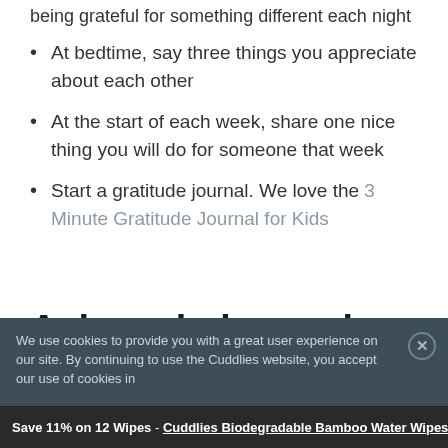being grateful for something different each night
At bedtime, say three things you appreciate about each other
At the start of each week, share one nice thing you will do for someone that week
Start a gratitude journal. We love the 3 Minute Gratitude Journal for Kids
Acknowledge and Appreciate Each Other
We use cookies to provide you with a great user experience on our site. By continuing to use the Cuddlies website, you accept our use of cookies in
Save 11% on 12 Wipes - Cuddlies Biodegradable Bamboo Water Wipes - 4 pack